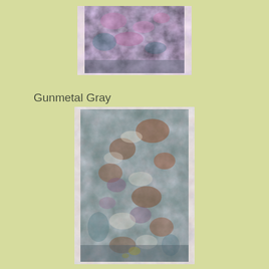[Figure (photo): Small rectangular fabric swatch with mottled purple, pink, gray and teal textile pattern, shown against a light cream/white background strip]
Gunmetal Gray
[Figure (photo): Large tall rectangular fabric swatch showing gunmetal gray colorway with mottled teal, brown, rust, purple, white and yellow botanical/abstract pattern, shown against a light cream/white background strip]